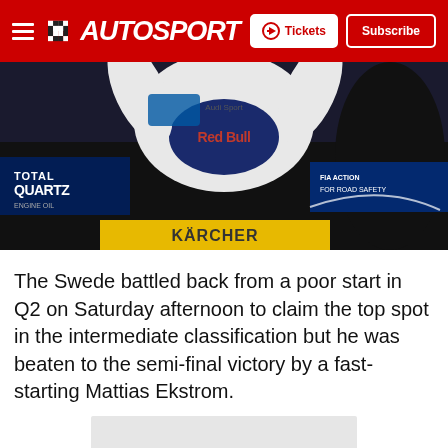AUTOSPORT — Tickets | Subscribe
[Figure (photo): Racing driver celebrating victory on podium, wearing Red Bull and Audi Sport racing suit, arms raised, with Total Quartz, Karcher, and FIA Action for Road Safety banners visible in background]
The Swede battled back from a poor start in Q2 on Saturday afternoon to claim the top spot in the intermediate classification but he was beaten to the semi-final victory by a fast-starting Mattias Ekstrom.
[Figure (other): Advertisement placeholder (grey box)]